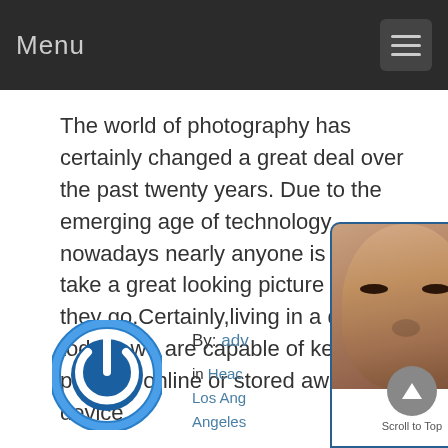Menu
The world of photography has certainly changed a great deal over the past twenty years. Due to the emerging age of technology nowadays nearly anyone is able to take a great looking picture wherever they go.Certainly,living in a digital age today,  we are capable of keeping the pictures online or stored away on a device...
[Figure (screenshot): Read More button - blue rounded rectangle]
[Figure (logo): Blue circular power/on button logo icon]
By: adv
in Heac ... ab
Los Ang...
Angeles...
[Figure (screenshot): Live support chat widget showing a woman's face, LIVE SUPPORT CLICK TO CHAT text, arrow and cursor icons, and ONLINE text in green]
Scroll to Top